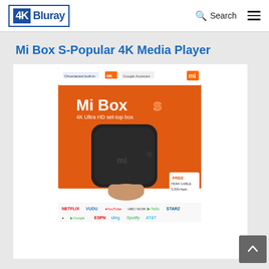4K Bluray | Search | Navigation menu
Mi Box S-Popular 4K Media Player
[Figure (photo): Product photo of Mi Box S 4K Ultra HD set-top box packaging. Orange box showing Mi Box S with Android TV branding, Chromecast built-in, Google Assistant, free HDMI cable, 5000+ apps. Bottom strip shows streaming service logos: Netflix, Vudu, YouTube, HBO Now, Hulu, STARZ, and others including ESPN, Sling, Spotify, AT&T.]